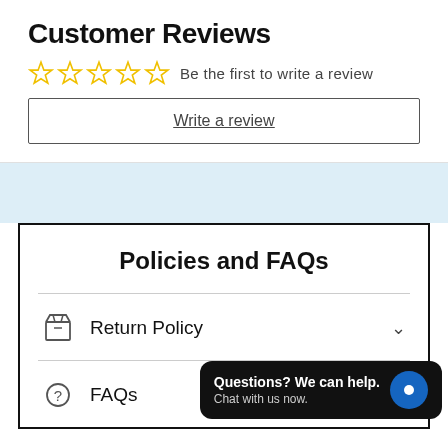Customer Reviews
Be the first to write a review
Write a review
Policies and FAQs
Return Policy
FAQs
Questions? We can help. Chat with us now.